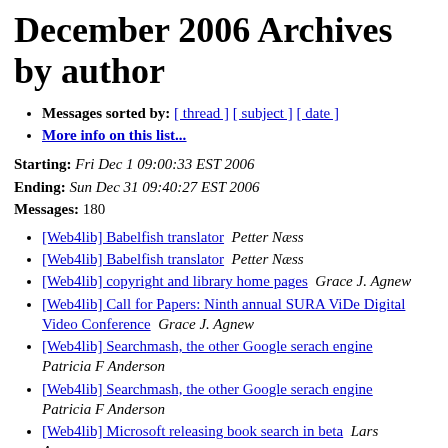December 2006 Archives by author
Messages sorted by: [ thread ] [ subject ] [ date ]
More info on this list...
Starting: Fri Dec 1 09:00:33 EST 2006
Ending: Sun Dec 31 09:40:27 EST 2006
Messages: 180
[Web4lib] Babelfish translator   Petter Næss
[Web4lib] Babelfish translator   Petter Næss
[Web4lib] copyright and library home pages   Grace J. Agnew
[Web4lib] Call for Papers: Ninth annual SURA ViDe Digital Video Conference   Grace J. Agnew
[Web4lib] Searchmash, the other Google serach engine   Patricia F Anderson
[Web4lib] Searchmash, the other Google serach engine   Patricia F Anderson
[Web4lib] Microsoft releasing book search in beta   Lars Aronsson
[Web4lib] Referrer URL authentication   Arlin Yarne